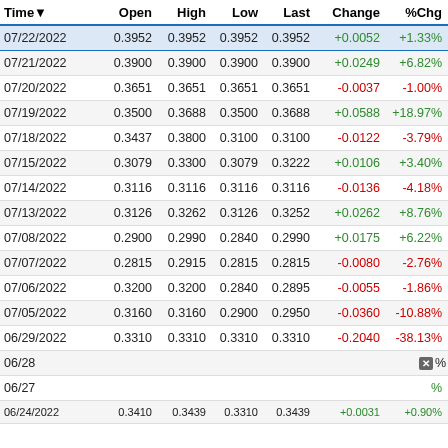| Time▼ | Open | High | Low | Last | Change | %Chg | V |
| --- | --- | --- | --- | --- | --- | --- | --- |
| 07/22/2022 | 0.3952 | 0.3952 | 0.3952 | 0.3952 | +0.0052 | +1.33% |  |
| 07/21/2022 | 0.3900 | 0.3900 | 0.3900 | 0.3900 | +0.0249 | +6.82% |  |
| 07/20/2022 | 0.3651 | 0.3651 | 0.3651 | 0.3651 | -0.0037 | -1.00% |  |
| 07/19/2022 | 0.3500 | 0.3688 | 0.3500 | 0.3688 | +0.0588 | +18.97% |  |
| 07/18/2022 | 0.3437 | 0.3800 | 0.3100 | 0.3100 | -0.0122 | -3.79% |  |
| 07/15/2022 | 0.3079 | 0.3300 | 0.3079 | 0.3222 | +0.0106 | +3.40% |  |
| 07/14/2022 | 0.3116 | 0.3116 | 0.3116 | 0.3116 | -0.0136 | -4.18% |  |
| 07/13/2022 | 0.3126 | 0.3262 | 0.3126 | 0.3252 | +0.0262 | +8.76% |  |
| 07/08/2022 | 0.2900 | 0.2990 | 0.2840 | 0.2990 | +0.0175 | +6.22% | 1 |
| 07/07/2022 | 0.2815 | 0.2915 | 0.2815 | 0.2815 | -0.0080 | -2.76% |  |
| 07/06/2022 | 0.3200 | 0.3200 | 0.2840 | 0.2895 | -0.0055 | -1.86% |  |
| 07/05/2022 | 0.3160 | 0.3160 | 0.2900 | 0.2950 | -0.0360 | -10.88% |  |
| 06/29/2022 | 0.3310 | 0.3310 | 0.3310 | 0.3310 | -0.2040 | -38.13% |  |
| 06/28/2022 (partial) |  |  |  |  |  | % |  |
| 06/27/2022 (partial) |  |  |  |  |  | % |  |
| 06/24/2022 | 0.3410 | 0.3439 | 0.3310 | 0.3439 | +0.0031 | +0.90% |  |